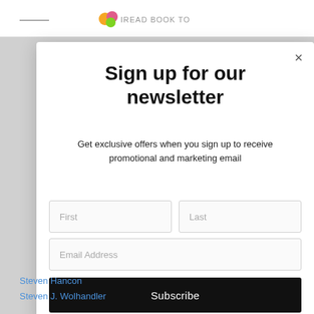[Figure (screenshot): Newsletter signup modal popup overlay on a website. Modal has a close button (×), bold heading 'Sign up for our newsletter', subtitle text, two name input fields (First, Last), an email address field, and a black Subscribe button.]
Sign up for our newsletter
Get exclusive offers when you sign up to receive promotional and marketing email
Subscribe
Steven Hancon
Steven J. Wolhandler